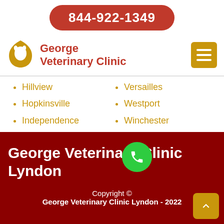844-922-1349
[Figure (logo): George Veterinary Clinic logo with dog and cat silhouette in gold shield shape]
George Veterinary Clinic
Hillview
Hopkinsville
Independence
Versailles
Westport
Winchester
George Veterinary Clinic Lyndon
Copyright ©
George Veterinary Clinic Lyndon - 2022